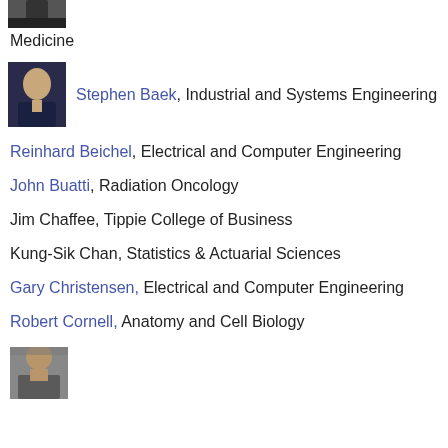[Figure (photo): Partial photo of a person, cropped at top of page]
Medicine
[Figure (photo): Photo of Stephen Baek]
Stephen Baek, Industrial and Systems Engineering
Reinhard Beichel, Electrical and Computer Engineering
John Buatti, Radiation Oncology
Jim Chaffee, Tippie College of Business
Kung-Sik Chan, Statistics & Actuarial Sciences
Gary Christensen, Electrical and Computer Engineering
Robert Cornell, Anatomy and Cell Biology
[Figure (photo): Photo of a person, partially cropped at bottom of page]